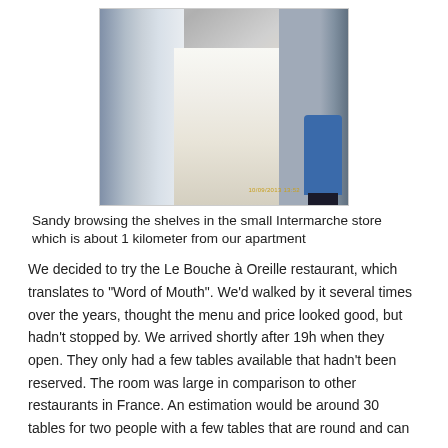[Figure (photo): A photo of a person (Sandy) browsing shelves in a supermarket aisle. The aisle has shelves stocked with products on both sides, a tiled floor, and a person in a blue jacket visible on the right side. A timestamp is visible in yellow at the bottom right of the photo.]
Sandy browsing the shelves in the small Intermarche store which is about 1 kilometer from our apartment
We decided to try the Le Bouche à Oreille restaurant, which translates to “Word of Mouth”. We’d walked by it several times over the years, thought the menu and price looked good, but hadn’t stopped by. We arrived shortly after 19h when they open. They only had a few tables available that hadn't been reserved. The room was large in comparison to other restaurants in France. An estimation would be around 30 tables for two people with a few tables that are round and can